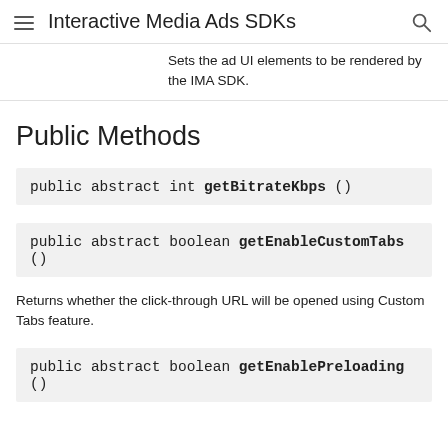Interactive Media Ads SDKs
Sets the ad UI elements to be rendered by the IMA SDK.
Public Methods
public abstract int getBitrateKbps ()
public abstract boolean getEnableCustomTabs ()
Returns whether the click-through URL will be opened using Custom Tabs feature.
public abstract boolean getEnablePreloading ()